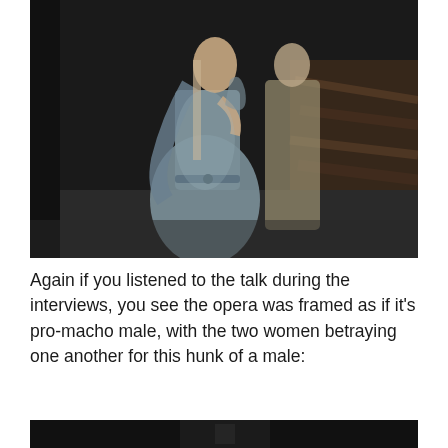[Figure (photo): Two figures in theatrical costumes on a dark stage. The foreground figure wears a blue-grey draped gown, holding fabric. Behind is another figure in a tan/olive coat. The background shows dark wooden logs or beams. Stage lighting creates dramatic shadows.]
Again if you listened to the talk during the interviews, you see the opera was framed as if it's pro-macho male, with the two women betraying one another for this hunk of a male:
[Figure (photo): Bottom of a dark scene, partially visible, very dark image.]